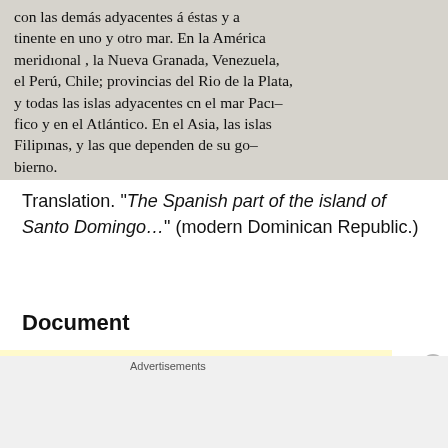[Figure (photo): Scanned historical document in Spanish showing text about territories including la Nueva Granada, Venezuela, el Perú, Chile, Rio de la Plata, Filipinas, and art. 11 heading]
Translation. "The Spanish part of the island of Santo Domingo…" (modern Dominican Republic.)
Document
[Figure (other): DuckDuckGo advertisement banner: Search, browse, and email with more privacy. All in One Free App.]